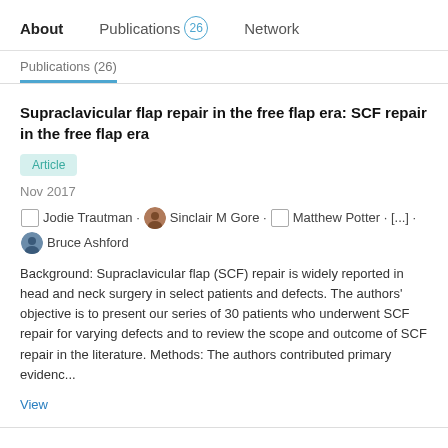About  Publications 26  Network
Publications (26)
Supraclavicular flap repair in the free flap era: SCF repair in the free flap era
Article
Nov 2017
Jodie Trautman · Sinclair M Gore · Matthew Potter · [...] · Bruce Ashford
Background: Supraclavicular flap (SCF) repair is widely reported in head and neck surgery in select patients and defects. The authors' objective is to present our series of 30 patients who underwent SCF repair for varying defects and to review the scope and outcome of SCF repair in the literature. Methods: The authors contributed primary evidenc...
View
Sentinel lymph node biopsy for external ear melanoma: A